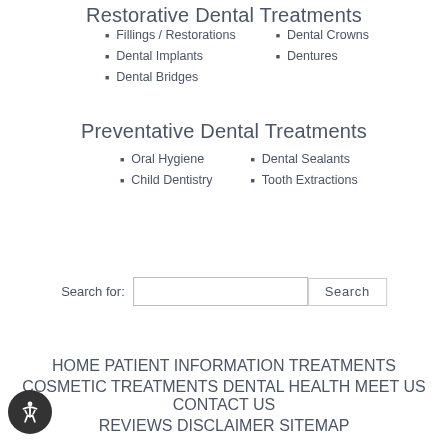Restorative Dental Treatments
Fillings / Restorations
Dental Crowns
Dental Implants
Dentures
Dental Bridges
Preventative Dental Treatments
Oral Hygiene
Dental Sealants
Child Dentistry
Tooth Extractions
Search for:
HOME  PATIENT INFORMATION  TREATMENTS  COSMETIC TREATMENTS  DENTAL HEALTH  MEET US  CONTACT US  REVIEWS  DISCLAIMER  SITEMAP